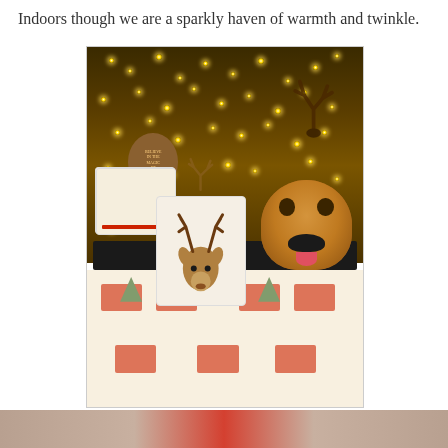Indoors though we are a sparkly haven of warmth and twinkle.
[Figure (photo): A cozy bedroom decorated for Christmas with warm twinkle fairy lights covering the wall behind the bed, reindeer/antler wall decorations, Christmas-patterned bedding with cars and trees, a reindeer pillow, and a beagle dog face peeking over the headboard.]
[Figure (photo): Partial bottom strip of another photo showing what appears to be a Christmas-themed scene with red and warm tones.]